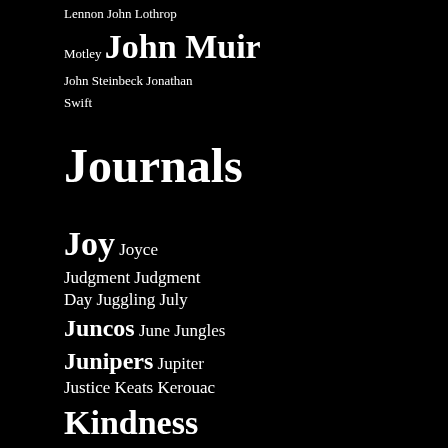Lennon John Lothrop Motley John Muir John Steinbeck Jonathan Swift Journals Joy Joyce Judgment Judgment Day Juggling July Juncos June Jungles Junipers Jupiter Justice Keats Kerouac Kindness Kingdoms Kingsburg Kirk Kisses Kissing Kittens Knowledge Kobayashi Issa L'Absinthe L'Assommoir Labor of Love Ladders Ladybugs Lambs Landmarks Landor Langston Hughes Language